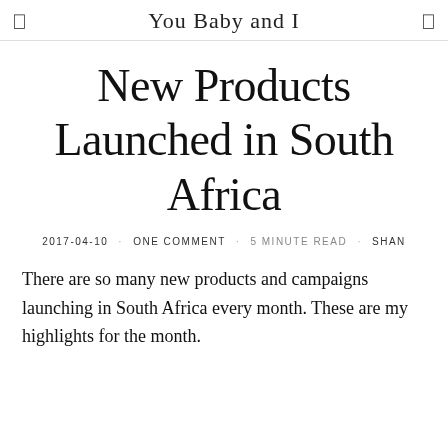You Baby and I
New Products Launched in South Africa
2017-04-10 · ONE COMMENT · 5 MINUTE READ · SHAN
There are so many new products and campaigns launching in South Africa every month. These are my highlights for the month.